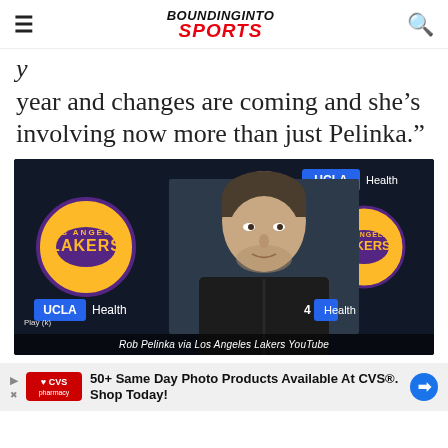BOUNDING INTO SPORTS
year and changes are coming and she’s involving now more than just Pelinka.”
[Figure (photo): Rob Pelinka at a press conference in front of Los Angeles Lakers and UCLA Health branded backdrop]
Rob Pelinka via Los Angeles Lakers YouTube
50+ Same Day Photo Products Available At CVS®. Shop Today!